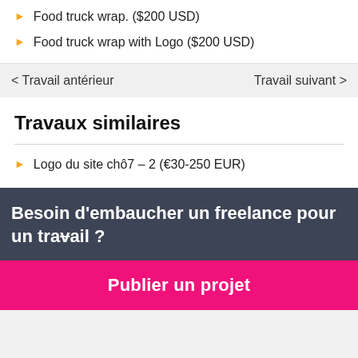Food truck wrap. ($200 USD)
Food truck wrap with Logo ($200 USD)
< Travail antérieur    Travail suivant >
Travaux similaires
Logo du site chô7 – 2 (€30-250 EUR)
Besoin d'embaucher un freelance pour un travail ?
Publier un projet